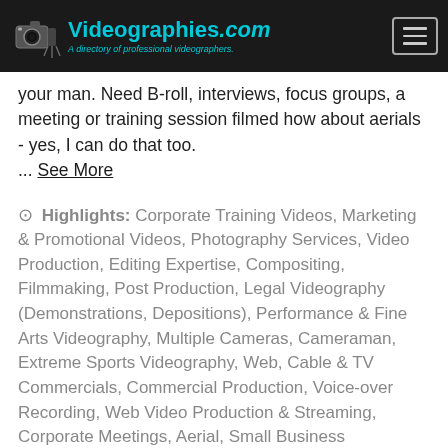Videographies.com — A directory of professional videographers.
your man. Need B-roll, interviews, focus groups, a meeting or training session filmed how about aerials - yes, I can do that too.
... See More
⊙ Highlights: Corporate Training Videos, Marketing & Promotional Videos, Photography Services, Video Production, Editing Expertise, Compositing, Filmmaking, Post Production, Legal Videography (Demonstrations, Depositions), Performance & Fine Arts Videography, Multiple Cameras, Cameraman, Extreme Sports Videography, Web, Cable & TV Commercials, Commercial Production, Voice-over Recording, Web Video Production & Streaming, Corporate Meetings, Aerial, Small Business Videography